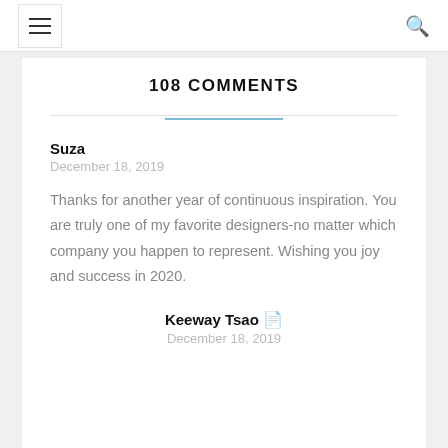☰  [hamburger menu]  Q [search]
108 COMMENTS
Suza
December 18, 2019
Thanks for another year of continuous inspiration. You are truly one of my favorite designers-no matter which company you happen to represent. Wishing you joy and success in 2020.
Keeway Tsao
December 18, 2019